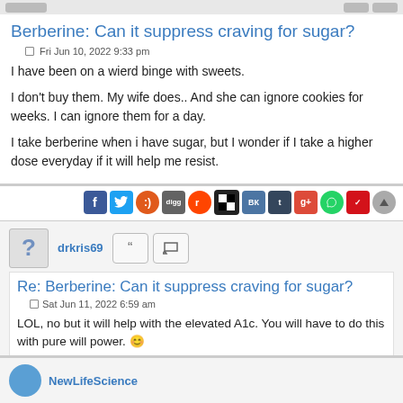Berberine: Can it suppress craving for sugar?
Fri Jun 10, 2022 9:33 pm
I have been on a wierd binge with sweets.

I don't buy them. My wife does.. And she can ignore cookies for weeks. I can ignore them for a day.

I take berberine when i have sugar, but I wonder if I take a higher dose everyday if it will help me resist.
[Figure (infographic): Social media share buttons row: Facebook, Twitter, Meneame, Digg, Reddit, Delicious, VK, Tumblr, Google+, WhatsApp, Pocket, scroll-up button]
drkris69
Re: Berberine: Can it suppress craving for sugar?
Sat Jun 11, 2022 6:59 am
LOL, no but it will help with the elevated A1c. You will have to do this with pure will power. 🙂
NewLifeScience